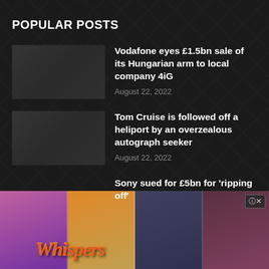POPULAR POSTS
Vodafone eyes £1.5bn sale of its Hungarian arm to local company 4iG
August 22, 2022
Tom Cruise is followed off a heliport by an overzealous autograph seeker
August 22, 2022
Sony sued for £5bn for 'ripping off'
[Figure (photo): Advertisement banner for Whispers app showing romantic illustrated characters in multiple scenes with the Whispers logo]